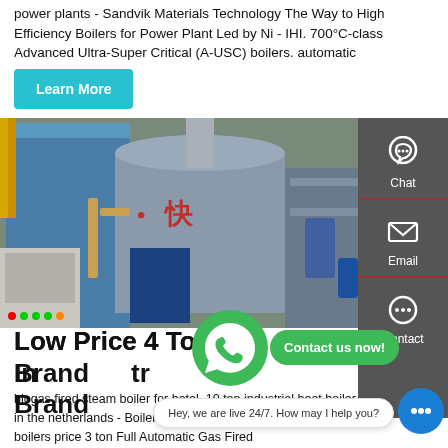power plants - Sandvik Materials Technology The Way to High Efficiency Boilers for Power Plant Led by Ni - IHI. 700°C-class Advanced Ultra-Super Critical (A-USC) boilers. automatic
Learn More
[Figure (photo): Industrial boiler equipment in a factory setting, showing blue cylindrical boilers with Chinese characters on a large spherical component, piping and control panels visible.]
[Figure (other): Right sidebar with dark grey background showing Chat (headset icon), Email (envelope icon), and Contact (chat bubbles icon) options with red dividers.]
Low Price 4 Ton Industrial Steam Boiler Brand
biogas fired steam boiler for hotel. 10 ton industrial heat boiler in the netherlands - Boiler Factory. Kefid·inventum w... steam boilers price 3 ton Full Automatic Gas Fired Steam Boiler For Hotel Steam Gas And Oil Fired St...
[Figure (other): WhatsApp icon (green circle with white phone handset)]
Contact us now!
Hey, we are live 24/7. How may I help you?